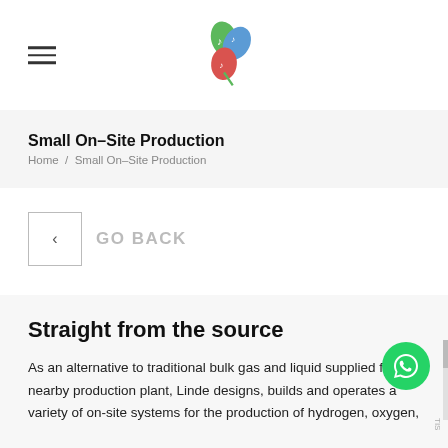Small On-Site Production — site header with logo and hamburger menu
Small On-Site Production
Home / Small On-Site Production
GO BACK
Straight from the source
As an alternative to traditional bulk gas and liquid supplied from a nearby production plant, Linde designs, builds and operates a variety of on-site systems for the production of hydrogen, oxygen,